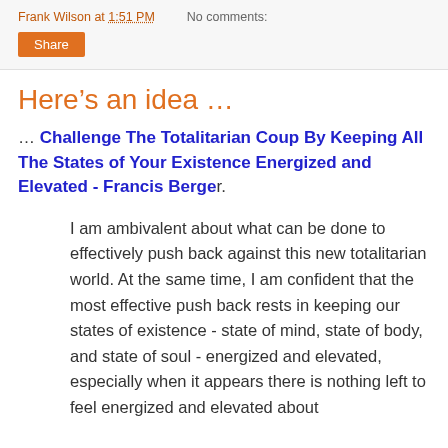Frank Wilson at 1:51 PM   No comments:
Share
Here's an idea …
… Challenge The Totalitarian Coup By Keeping All The States of Your Existence Energized and Elevated - Francis Berger.
I am ambivalent about what can be done to effectively push back against this new totalitarian world. At the same time, I am confident that the most effective push back rests in keeping our states of existence - state of mind, state of body, and state of soul - energized and elevated, especially when it appears there is nothing left to feel energized and elevated about